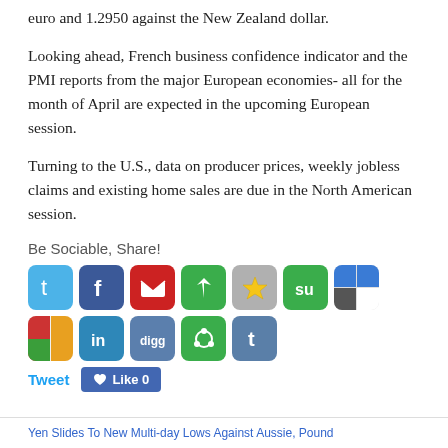euro and 1.2950 against the New Zealand dollar.
Looking ahead, French business confidence indicator and the PMI reports from the major European economies- all for the month of April are expected in the upcoming European session.
Turning to the U.S., data on producer prices, weekly jobless claims and existing home sales are due in the North American session.
Be Sociable, Share!
[Figure (other): Row of social media sharing icons: Twitter, Facebook, email, Pinterest, Favorites/Star, StumbleUpon, Delicious]
[Figure (other): Row of social media sharing icons: Google+, LinkedIn, Digg, Pinwheel/Klout, Tumblr]
Tweet   Like 0
Yen Slides To New Multi-day Lows Against Aussie, Pound